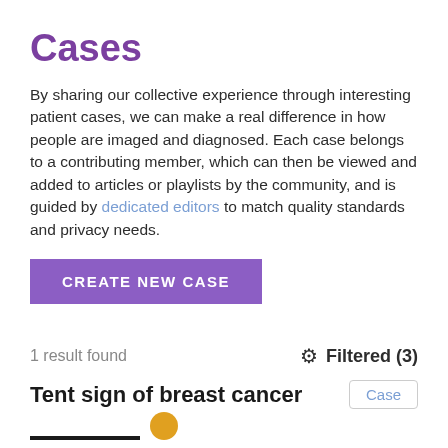Cases
By sharing our collective experience through interesting patient cases, we can make a real difference in how people are imaged and diagnosed. Each case belongs to a contributing member, which can then be viewed and added to articles or playlists by the community, and is guided by dedicated editors to match quality standards and privacy needs.
CREATE NEW CASE
1 result found
Filtered (3)
Tent sign of breast cancer
Case